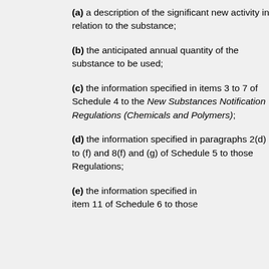(a) a description of the significant new activity in relation to the substance;
(b) the anticipated annual quantity of the substance to be used;
(c) the information specified in items 3 to 7 of Schedule 4 to the New Substances Notification Regulations (Chemicals and Polymers);
(d) the information specified in paragraphs 2(d) to (f) and 8(f) and (g) of Schedule 5 to those Regulations;
(e) the information specified in item 11 of Schedule 6 to those